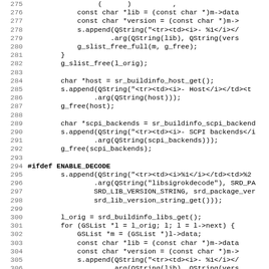[Figure (screenshot): Source code listing (C/C++) showing lines 275-307, displaying code for building info strings using Qt QString and GLib functions, with an #ifdef ENABLE_DECODE section.]